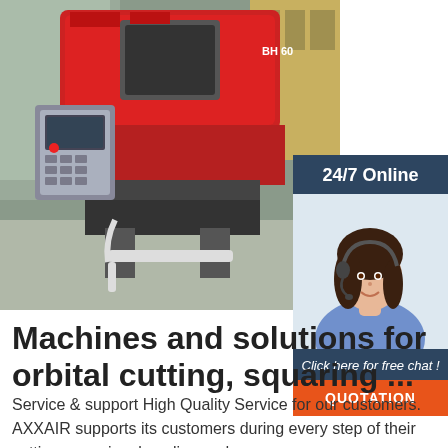[Figure (photo): Industrial orbital cutting machine (red and grey CNC machine) in a factory/warehouse setting, with a control panel visible on the machine body.]
[Figure (infographic): 24/7 Online chat widget with a customer service agent photo (woman wearing headset, smiling), dark navy background, 'Click here for free chat!' text, and an orange QUOTATION button.]
Machines and solutions for orbital cutting, squaring ...
Service & support High Quality Service for our customers. AXXAIR supports its customers during every step of their cutting, squaring, beveling and